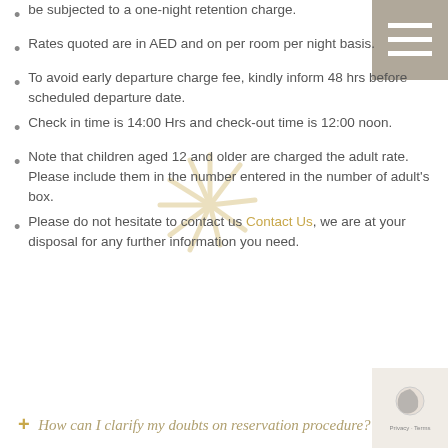be subjected to a one-night retention charge.
Rates quoted are in AED and on per room per night basis.
To avoid early departure charge fee, kindly inform 48 hrs before scheduled departure date.
Check in time is 14:00 Hrs and check-out time is 12:00 noon.
Note that children aged 12 and older are charged the adult rate. Please include them in the number entered in the number of adult's box.
Please do not hesitate to contact us Contact Us, we are at your disposal for any further information you need.
How can I clarify my doubts on reservation procedure?